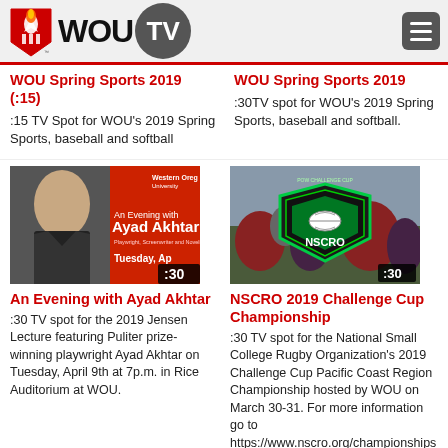WOU TV
WOU Spring Sports 2019 (:15)
:15 TV Spot for WOU's 2019 Spring Sports, baseball and softball
WOU Spring Sports 2019
:30TV spot for WOU's 2019 Spring Sports, baseball and softball.
[Figure (photo): An Evening with Ayad Akhtar event poster - Tuesday April, :30 duration badge]
An Evening with Ayad Akhtar
:30 TV spot for the 2019 Jensen Lecture featuring Puliter prize-winning playwright Ayad Akhtar on Tuesday, April 9th at 7p.m. in Rice Auditorium at WOU.
[Figure (photo): NSCRO 2019 Challenge Cup Championship rugby players photo with NSCRO logo, :30 duration badge]
NSCRO 2019 Challenge Cup Championship
:30 TV spot for the National Small College Rugby Organization's 2019 Challenge Cup Pacific Coast Region Championship hosted by WOU on March 30-31. For more information go to https://www.nscro.org/championships